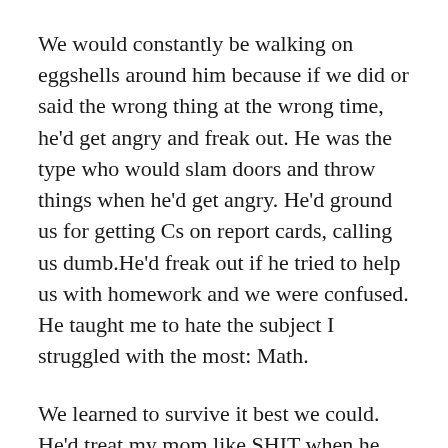We would constantly be walking on eggshells around him because if we did or said the wrong thing at the wrong time, he'd get angry and freak out. He was the type who would slam doors and throw things when he'd get angry. He'd ground us for getting Cs on report cards, calling us dumb.He'd freak out if he tried to help us with homework and we were confused. He taught me to hate the subject I struggled with the most: Math.
We learned to survive it best we could. He'd treat my mom like SHIT when he was in his moods, often going weeks without speaking to her. The tension was suffocating and traumatic. It broke us and my mom. Then one day he'd act as if everything was normal. There was no consistency with him. It was bizarre and confusing. We feared him and his